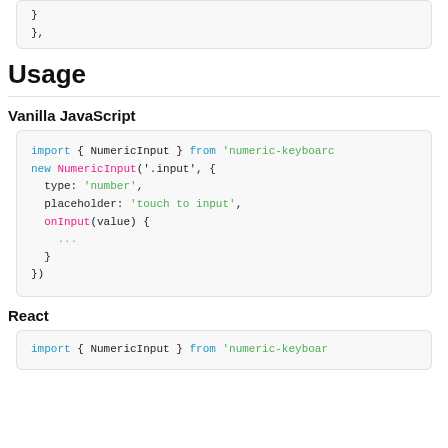[Figure (screenshot): Code block showing closing braces: } and },]
Usage
Vanilla JavaScript
[Figure (screenshot): Code block: import { NumericInput } from 'numeric-keyboard' new NumericInput('.input', { type: 'number', placeholder: 'touch to input', onInput(value) { ... } })]
React
[Figure (screenshot): Code block: import { NumericInput } from 'numeric-keyboard']